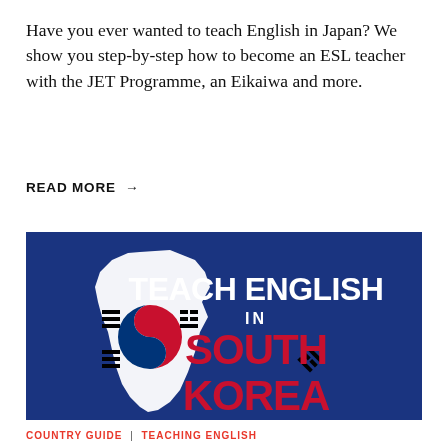Have you ever wanted to teach English in Japan? We show you step-by-step how to become an ESL teacher with the JET Programme, an Eikaiwa and more.
READ MORE →
[Figure (illustration): Promotional banner with dark blue background showing a white silhouette of the Korean peninsula with the South Korean flag (Taegukgi) design overlaid. To the right, text reads 'TEACH ENGLISH IN SOUTH KOREA' with 'TEACH ENGLISH IN' in white and 'SOUTH KOREA' in red.]
COUNTRY GUIDE | TEACHING ENGLISH